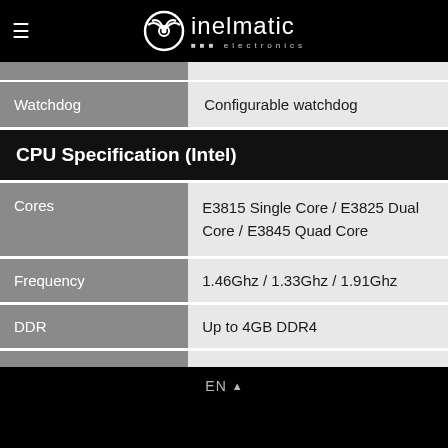inelmatic electronics
| Property | Value |
| --- | --- |
| Watchdog | Configurable watchdog |
| CPU Specification (Intel) |  |
| Cores | E3815 Single Core / E3825 Dual Core / E3845 Quad Core |
| Frequency | 1.46Ghz / 1.33Ghz / 1.91Ghz |
| DDR | Up to 4GB DDR4 |
EN